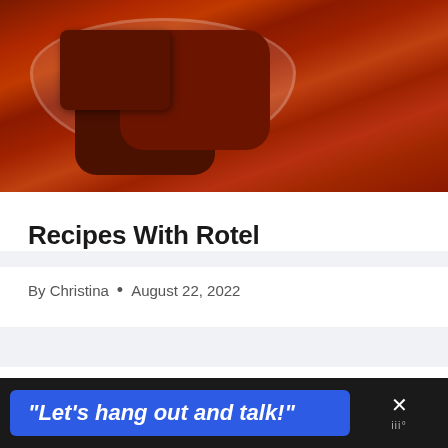[Figure (photo): Close-up photo of a bowl of chili or beef stew with tomato sauce, chunks of meat, and garnishes including what appears to be a dark cherry or pepper on top, with shredded toppings visible.]
Recipes With Rotel
By Christina • August 22, 2022
[Figure (screenshot): Advertisement banner reading: "Let's hang out and talk!" with an X close button and small icon on the right, on a dark background.]